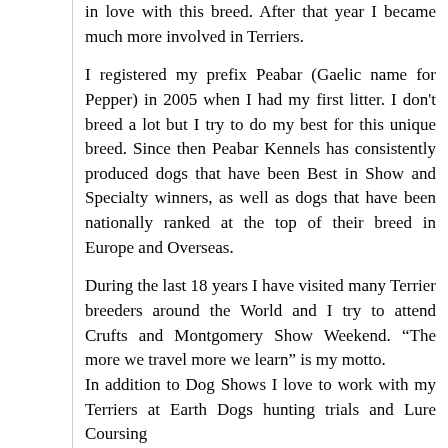in love with this breed. After that year I became much more involved in Terriers.
I registered my prefix Peabar (Gaelic name for Pepper) in 2005 when I had my first litter. I don't breed a lot but I try to do my best for this unique breed. Since then Peabar Kennels has consistently produced dogs that have been Best in Show and Specialty winners, as well as dogs that have been nationally ranked at the top of their breed in Europe and Overseas.
During the last 18 years I have visited many Terrier breeders around the World and I try to attend Crufts and Montgomery Show Weekend. “The more we travel more we learn” is my motto.
In addition to Dog Shows I love to work with my Terriers at Earth Dogs hunting trials and Lure Coursing